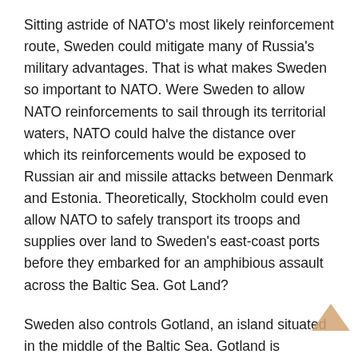Sitting astride of NATO's most likely reinforcement route, Sweden could mitigate many of Russia's military advantages. That is what makes Sweden so important to NATO. Were Sweden to allow NATO reinforcements to sail through its territorial waters, NATO could halve the distance over which its reinforcements would be exposed to Russian air and missile attacks between Denmark and Estonia. Theoretically, Stockholm could even allow NATO to safely transport its troops and supplies over land to Sweden's east-coast ports before they embarked for an amphibious assault across the Baltic Sea. Got Land?
Sweden also controls Gotland, an island situated in the middle of the Baltic Sea. Gotland is strategic because it is an ideal location from which to defend